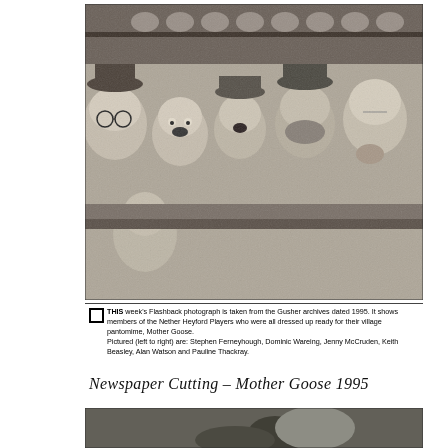[Figure (photo): Black and white newspaper photograph showing members of the Nether Heyford Players dressed up for their village pantomime Mother Goose, 1995. Six people are gathered around what appears to be a counter or bar — from left to right: Stephen Ferneyhough, Dominic Wareing, Jenny McCruden, Keith Beasley, Alan Watson, and Pauline Thackray. A Tigger toy is visible in the foreground. Cups and shelves visible in the background.]
THIS week's Flashback photograph is taken from the Gusher archives dated 1995. It shows members of the Nether Heyford Players who were all dressed up ready for their village pantomime, Mother Goose. Pictured (left to right) are: Stephen Ferneyhough, Dominic Wareing, Jenny McCruden, Keith Beasley, Alan Watson and Pauline Thackray.
Newspaper Cutting – Mother Goose 1995
[Figure (photo): Partial black and white photograph at the bottom of the page, partially cut off, appearing to show a person or performer, details obscured.]